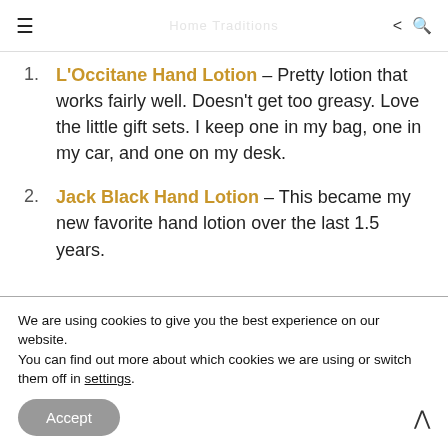≡ [logo image] share search
L'Occitane Hand Lotion – Pretty lotion that works fairly well. Doesn't get too greasy. Love the little gift sets. I keep one in my bag, one in my car, and one on my desk.
Jack Black Hand Lotion – This became my new favorite hand lotion over the last 1.5 years.
We are using cookies to give you the best experience on our website.
You can find out more about which cookies we are using or switch them off in settings.